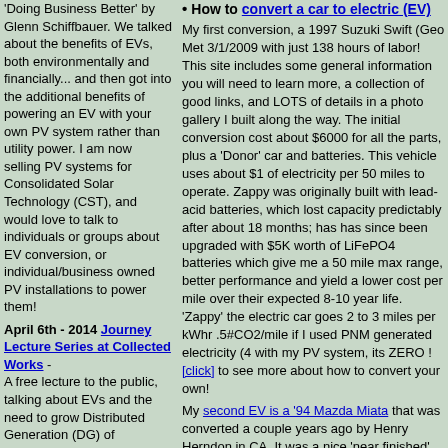Doing Business Better' by Glenn Schiffbauer. We talked about the benefits of EVs, both environmentally and financially... and then got into the additional benefits of powering an EV with your own PV system rather than utility power. I am now selling PV systems for Consolidated Solar Technology (CST), and would love to talk to individuals or groups about EV conversion, or individual/business owned PV installations to power them!
April 6th - 2014 Journey Lecture Series at Collected Works - A free lecture to the public, talking about EVs and the need to grow Distributed Generation (DG) of PhotoVoltaics (PV) to enhance local sustainability in the energy and transportation sectors.
March 24th - 2014 ClimateMasters Lecture Series - Gave a presentation as part of the Santa Fe Climate Masters lecture series presented by the Watershed Association. Tim Rodgers
How to convert a car to electric (EV)
My first conversion, a 1997 Suzuki Swift (Geo Met 3/1/2009 with just 138 hours of labor! This site includes some general information you will need to learn more, a collection of good links, and LOTS of details in a photo gallery I built along the way. The initial conversion cost about $6000 for all the parts, plus a 'Donor' car and batteries. This vehicle uses about $1 of electricity per 50 miles to operate. Zappy was originally built with lead-acid batteries, which lost capacity predictably after about 18 months; has has since been upgraded with $5K worth of LiFePO4 batteries which give me a 50 mile max range, better performance and yield a lower cost per mile over their expected 8-10 year life.
'Zappy' the electric car goes 2 to 3 miles per kWhr .5#CO2/mile if I used PNM generated electricity (4 with my PV system, its ZERO !
[click] to see more about how to convert your own!
My second EV is a '94 Mazda Miata that was converted a couple years ago by Henry Herndon in CA. It was a nice 'near finished' build with Warp9 motor, Zilla controller, Manzanita charger, and cleanly done.... but built with AGM Lead batteries (Optima yellow-tops) that had pretty limited range even when new. Henry drove the Lead batteries until pretty much dead, and decided to all other the nice options and